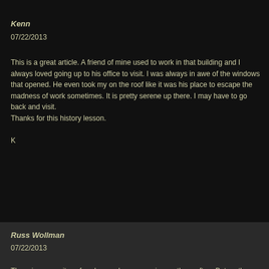Kenn
07/22/2013
This is a great article. A friend of mine used to work in that building and I always loved going up to his office to visit. I was always in awe of the windows that opened. He even took my on the roof like it was his place to escape the madness of work sometimes. It is pretty serene up there. I may have to go back and visit.
Thanks for this history lesson.

K
Russ Wollman
07/22/2013
There is a serenity, a freedom and an expansion on the rooftop. But on the penthouse roof, the wind could be fearsome. I can feel a weakness in my knees just thinking about it.